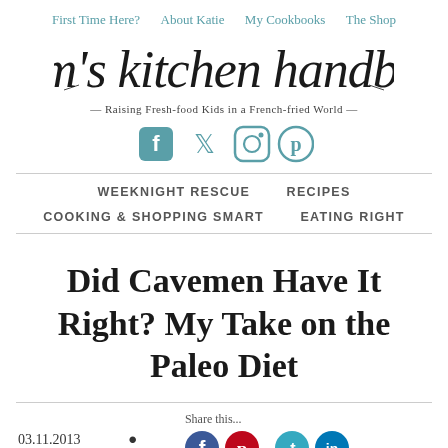First Time Here?  About Katie  My Cookbooks  The Shop
[Figure (logo): mom's kitchen handbook script logo with tagline: Raising Fresh-food Kids in a French-fried World]
[Figure (infographic): Social media icons: Facebook, Twitter, Instagram, Pinterest in teal]
WEEKNIGHT RESCUE  RECIPES  COOKING & SHOPPING SMART  EATING RIGHT
Did Cavemen Have It Right? My Take on the Paleo Diet
03.11.2013
Share this...
[Figure (infographic): Share icons: Facebook (blue), Pinterest (red), Twitter (teal), LinkedIn (blue)]